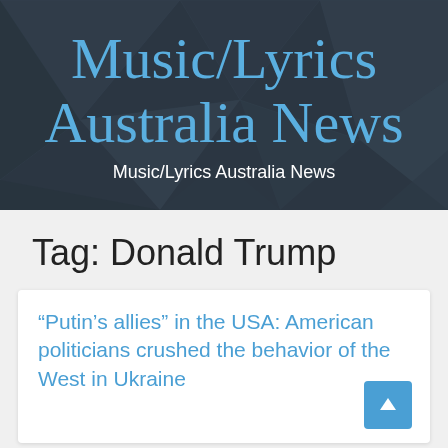[Figure (other): Website header banner with dark geometric polygon background pattern. Large cursive/script blue text reads 'Music/Lyrics Australia News' with white subtitle text below.]
Music/Lyrics Australia News
Music/Lyrics Australia News
Tag: Donald Trump
“Putin’s allies” in the USA: American politicians crushed the behavior of the West in Ukraine